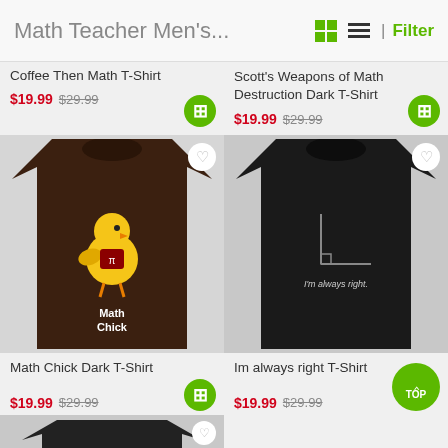Math Teacher Men's... | Filter
Coffee Then Math T-Shirt
$19.99 $29.99
Scott's Weapons of Math Destruction Dark T-Shirt
$19.99 $29.99
[Figure (photo): Math Chick Dark T-Shirt - brown t-shirt with cartoon chick graphic]
[Figure (photo): Im always right T-Shirt - black t-shirt with right angle math graphic]
Math Chick Dark T-Shirt
$19.99 $29.99
Im always right T-Shirt
$19.99 $29.99
[Figure (photo): Partial view of another dark t-shirt product at bottom of page]